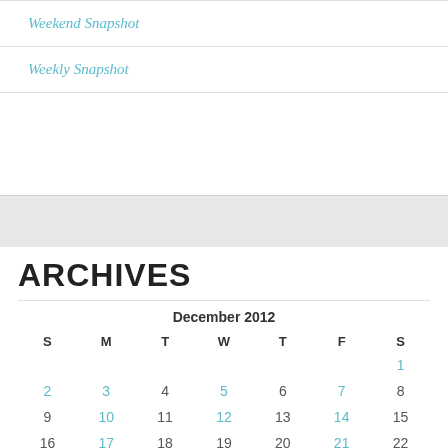Weekend Snapshot
Weekly Snapshot
ARCHIVES
| S | M | T | W | T | F | S |
| --- | --- | --- | --- | --- | --- | --- |
|  |  |  |  |  |  | 1 |
| 2 | 3 | 4 | 5 | 6 | 7 | 8 |
| 9 | 10 | 11 | 12 | 13 | 14 | 15 |
| 16 | 17 | 18 | 19 | 20 | 21 | 22 |